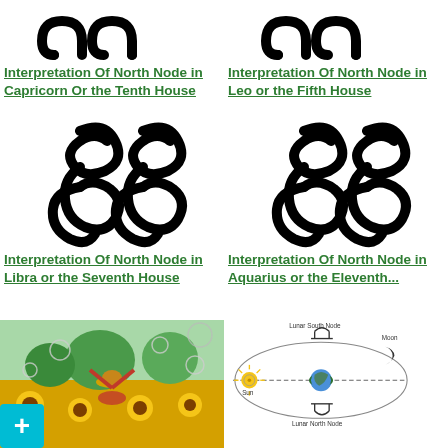[Figure (illustration): Astrological North Node symbol (Capricorn/Tenth House) - two circles with curved horns at top]
Interpretation Of North Node in Capricorn Or the Tenth House
[Figure (illustration): Astrological North Node symbol (Leo/Fifth House) - two circles with curved horns at top]
Interpretation Of North Node in Leo or the Fifth House
[Figure (illustration): Astrological symbol - S-shaped double spiral node symbol (Libra/Seventh House)]
Interpretation Of North Node in Libra or the Seventh House
[Figure (illustration): Astrological symbol - S-shaped double spiral node symbol (Aquarius/Eleventh House)]
Interpretation Of North Node in Aquarius or the Eleventh...
[Figure (photo): Woman in sunflower field with arms raised, bubbles, wearing hat, with blue plus button overlay]
[Figure (schematic): Diagram showing Lunar South Node, Moon, Sun, Earth, and Lunar North Node with orbital path ellipses]